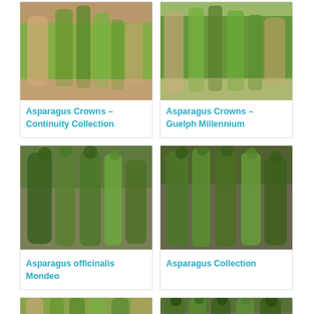[Figure (photo): Photo of asparagus bunches being held by hands]
Asparagus Crowns – Continuity Collection
[Figure (photo): Photo of asparagus bunches being held by hands]
Asparagus Crowns – Guelph Millennium
[Figure (photo): Photo of green asparagus bunch on wooden surface]
Asparagus officinalis Mondeo
[Figure (photo): Photo of green asparagus bunch on dark wooden surface]
Asparagus Collection
[Figure (photo): Photo of asparagus being held by hands (partial, bottom of page)]
[Figure (photo): Photo of asparagus tips close-up (partial, bottom of page)]